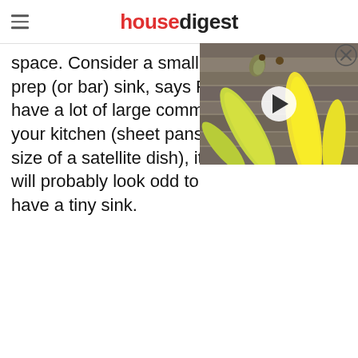housedigest
space. Consider a small prep (or bar) sink, says R have a lot of large comm your kitchen (sheet pans, size of a satellite dish), it will probably look odd to have a tiny sink.
[Figure (screenshot): Video thumbnail showing bananas with a play button overlay]